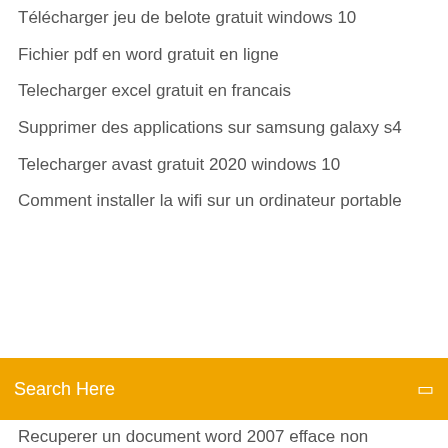Télécharger jeu de belote gratuit windows 10
Fichier pdf en word gratuit en ligne
Telecharger excel gratuit en francais
Supprimer des applications sur samsung galaxy s4
Telecharger avast gratuit 2020 windows 10
Comment installer la wifi sur un ordinateur portable
Search Here
Recuperer un document word 2007 efface non enregistre
Taskbar repair tool plus serial number
Copier la musique de son iphone sur itunes
Comment enregistrer une video youtube sur iphone
Amd radeon hd 6300m series driver for windows 10 télécharger
Comment lire un dvd sur mac os x
Tap tap revenge 3 android ß¬átáΓ∞
Microsoft outlook web access télécharger
Mad max jeux video pc
Qui fat32 format pour windows